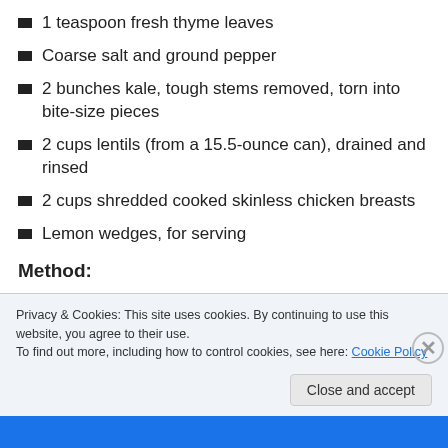1 teaspoon fresh thyme leaves
Coarse salt and ground pepper
2 bunches kale, tough stems removed, torn into bite-size pieces
2 cups lentils (from a 15.5-ounce can), drained and rinsed
2 cups shredded cooked skinless chicken breasts
Lemon wedges, for serving
Method:
1.  In a large skillet, heat 1 tablespoon oil over medium
Privacy & Cookies: This site uses cookies. By continuing to use this website, you agree to their use.
To find out more, including how to control cookies, see here: Cookie Policy